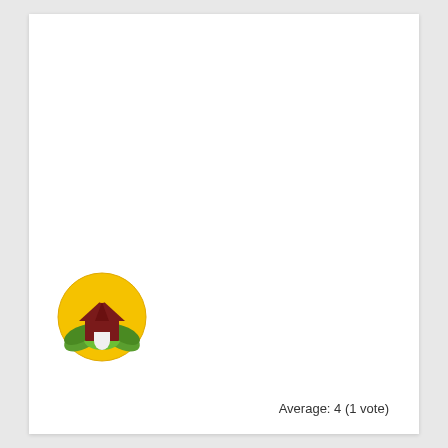[Figure (logo): Circular logo with yellow/gold background featuring a dark red barn/house silhouette and green leaf/plant shapes at the bottom]
Average: 4 (1 vote)